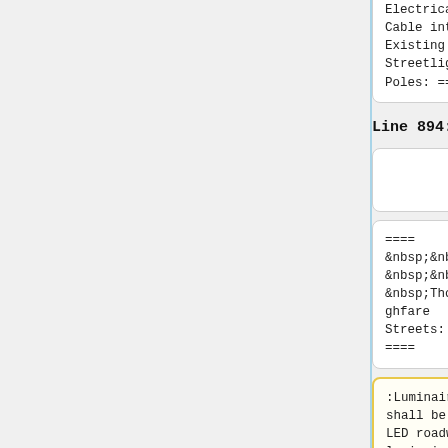Electrical Cable into Existing Streetlight Poles: ===
Electrical Cable into Existing Streetlight Poles: ===
Line 894:
Line 911:
==== &nbsp;&nbsp;&nbsp;&nbsp;&nbsp;Thoroughfare Streets: ====
==== &nbsp;&nbsp;&nbsp;&nbsp;&nbsp;Thoroughfare Streets: ====
:Luminaires shall be LED roadway luminaires meeting the
:Luminaires shall be LED roadway luminaires meeting the